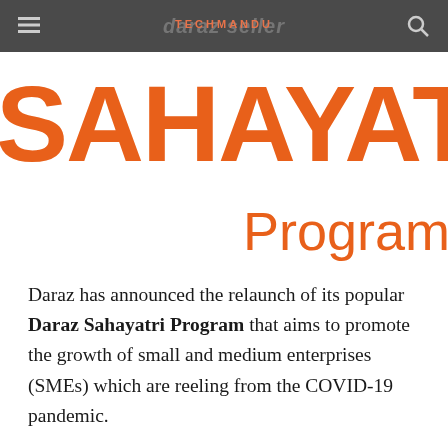daraz seller TECHMANDU
SAHAYATRI Program
Daraz has announced the relaunch of its popular Daraz Sahayatri Program that aims to promote the growth of small and medium enterprises (SMEs) which are reeling from the COVID-19 pandemic.
Daraz, Nepal's leading online marketplace, launched this program by waiving fees of businesses for four